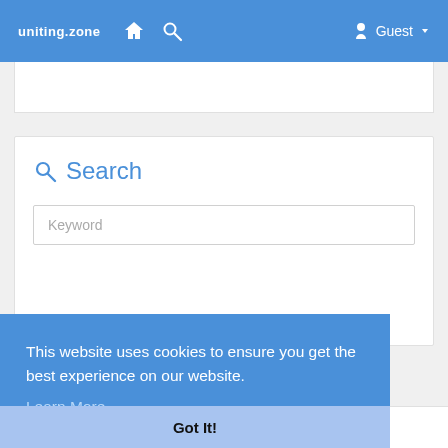uniting.zone  Guest
Search
Keyword
This website uses cookies to ensure you get the best experience on our website. Learn More
Got It!
Nama Nama Situs Judi Slot Online - An Overview